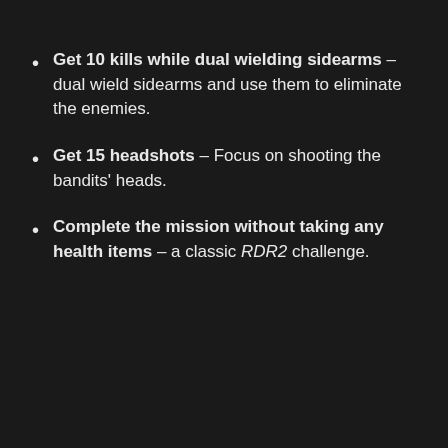Get 10 kills while dual wielding sidearms – dual wield sidearms and use them to eliminate the enemies.
Get 15 headshots – Focus on shooting the bandits' heads.
Complete the mission without taking any health items – a classic RDR2 challenge.